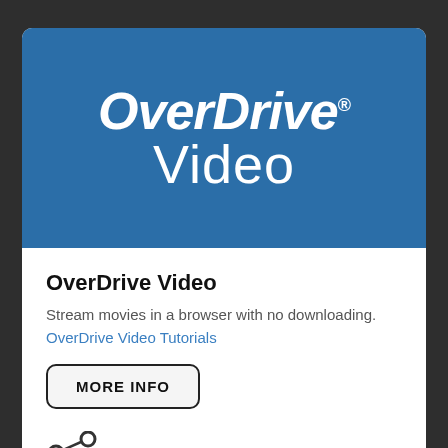[Figure (logo): OverDrive Video logo: white italic 'OverDrive' with registered trademark symbol and lighter-weight 'Video' text on a blue background]
OverDrive Video
Stream movies in a browser with no downloading.
OverDrive Video Tutorials
MORE INFO
[Figure (illustration): Share icon (three connected circles in a branching pattern)]